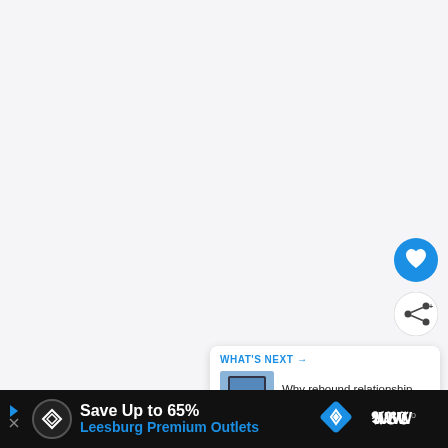[Figure (screenshot): Main content area — mostly blank/white space, part of a webpage screenshot]
[Figure (other): Blue circular FAB button with heart/favorite icon]
[Figure (other): White circular FAB button with share icon]
[Figure (other): "WHAT'S NEXT" card with thumbnail and title "Why rebound relationship..."]
WHAT'S NEXT → Why rebound relationship...
[Figure (other): Advertisement bar: Save Up to 65% Leesburg Premium Outlets, dark background with navigation icon and brand logo]
Save Up to 65%
Leesburg Premium Outlets